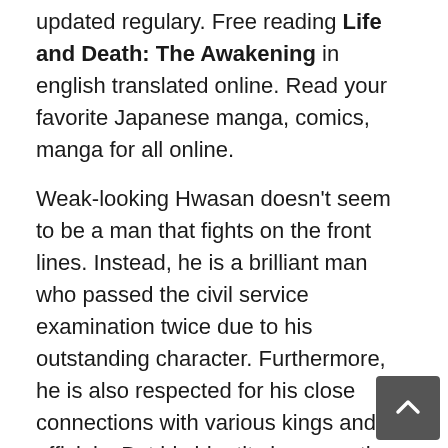updated regulary. Free reading Life and Death: The Awakening in english translated online. Read your favorite Japanese manga, comics, manga for all online.
Weak-looking Hwasan doesn't seem to be a man that fights on the front lines. Instead, he is a brilliant man who passed the civil service examination twice due to his outstanding character. Furthermore, he is also respected for his close connections with various kings and officials. But his identity is none other than the only successor to the HwaSan sect. He usually stays in his room and reads. However, in the rare instances that he does use his body, it is only to clean the yard or do light exercises. One night, he shocked everyone by entering a conflict to save disciplines of the HwaSan sect and fought on the front lines. In that event, the ridge where the HwaSan sect was located burned to the ground, leaving their threshold destroyed. A bunch of fake masters appeared and massacred all of the disciples and even the young. In response, Hwasan displayed great combat skills to take them down and protect the disciples of the HwaSan sect. To find out the mastermind